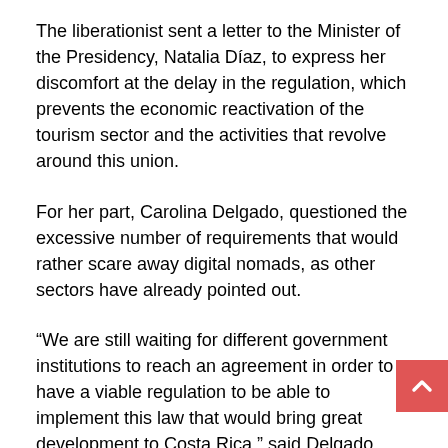The liberationist sent a letter to the Minister of the Presidency, Natalia Díaz, to express her discomfort at the delay in the regulation, which prevents the economic reactivation of the tourism sector and the activities that revolve around this union.
For her part, Carolina Delgado, questioned the excessive number of requirements that would rather scare away digital nomads, as other sectors have already pointed out.
“We are still waiting for different government institutions to reach an agreement in order to have a viable regulation to be able to implement this law that would bring great development to Costa Rica,” said Delgado.
The last update of this legislation was carried out by the previous legislators, who approved that digital nomads who want to work in Costa Rica do not have to apply for a full year,